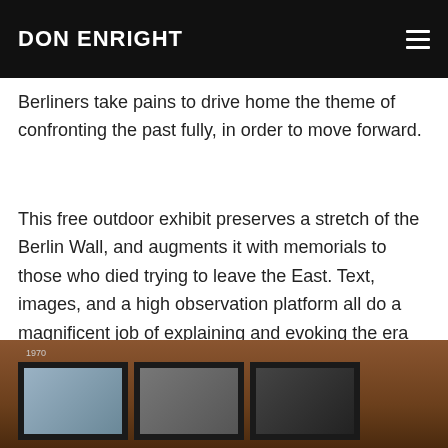DON ENRIGHT
down without a trace. My fears were for naught. In so many historic and cultural sites around the city, the Berliners take pains to drive home the theme of confronting the past fully, in order to move forward.
This free outdoor exhibit preserves a stretch of the Berlin Wall, and augments it with memorials to those who died trying to leave the East. Text, images, and a high observation platform all do a magnificent job of explaining and evoking the era when the city (and nation) was divided. An absolute must-see, in my book.
[Figure (photo): Photo of a Berlin Wall memorial exhibit showing rust-colored metal panels with framed photographs displayed inside dark compartments. A year label '1970' is visible on the left side.]